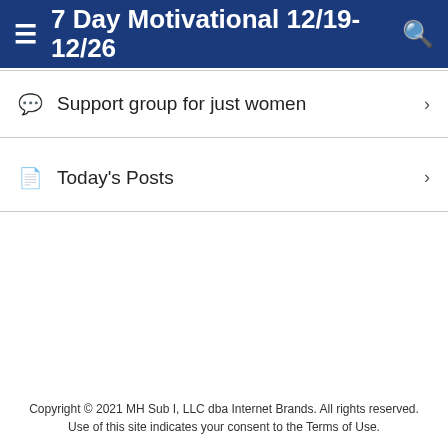7 Day Motivational 12/19-12/26
Support group for just women
Today's Posts
Copyright © 2021 MH Sub I, LLC dba Internet Brands. All rights reserved. Use of this site indicates your consent to the Terms of Use.